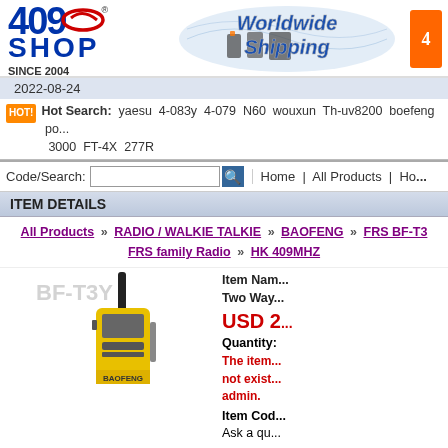[Figure (logo): 409Shop logo with red swoosh, blue text '409 SHOP', and 'SINCE 2004' below]
[Figure (illustration): Worldwide Shipping banner with globe map and radio equipment images]
2022-08-24
Hot Search: yaesu 4-083y 4-079 N60 wouxun Th-uv8200 boefeng po... 3000 FT-4X 277R
Code/Search: Home | All Products | Ho...
ITEM DETAILS
All Products » RADIO / WALKIE TALKIE » BAOFENG » FRS BF-T3 FRS family Radio » HK 409MHZ
Item Nam... Two Way...
USD 2...
Quantity:
The item... not exist... admin.
Item Cod...
Ask a qu...
[Figure (photo): Baofeng BF-T3Y yellow walkie-talkie radio with black antenna]